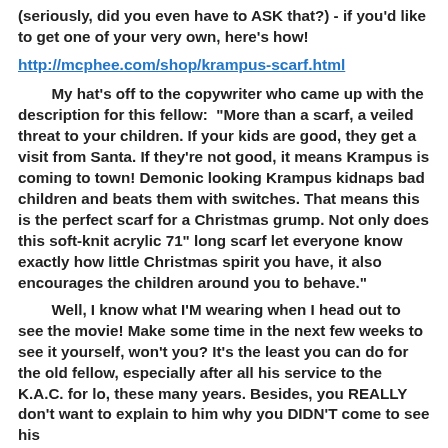(seriously, did you even have to ASK that?) - if you'd like to get one of your very own, here's how!
http://mcphee.com/shop/krampus-scarf.html
My hat's off to the copywriter who came up with the description for this fellow:  "More than a scarf, a veiled threat to your children. If your kids are good, they get a visit from Santa. If they're not good, it means Krampus is coming to town! Demonic looking Krampus kidnaps bad children and beats them with switches. That means this is the perfect scarf for a Christmas grump. Not only does this soft-knit acrylic 71" long scarf let everyone know exactly how little Christmas spirit you have, it also encourages the children around you to behave."
Well, I know what I'M wearing when I head out to see the movie! Make some time in the next few weeks to see it yourself, won't you? It's the least you can do for the old fellow, especially after all his service to the K.A.C. for lo, these many years. Besides, you REALLY don't want to explain to him why you DIDN'T come to see his